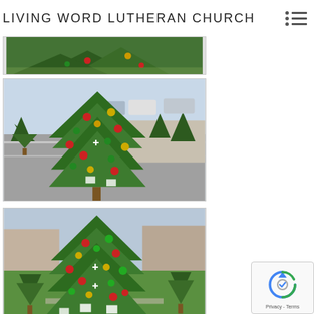LIVING WORD LUTHERAN CHURCH
[Figure (photo): Partial view of a decorated Christmas tree outdoors, cropped at top of page]
[Figure (photo): A decorated outdoor Christmas tree with red, green, and gold ornaments, with a parking lot visible in the background]
[Figure (photo): A decorated outdoor Christmas tree with red, green, and gold ornaments on a grassy lawn with other smaller trees visible]
[Figure (photo): Partial view of another outdoor decorated Christmas tree, cropped at the bottom of the page]